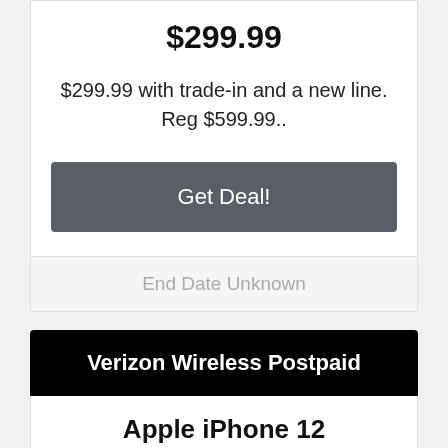$299.99
$299.99 with trade-in and a new line. Reg $599.99..
Get Deal!
End Date Unknown
Verizon Wireless Postpaid
Apple iPhone 12